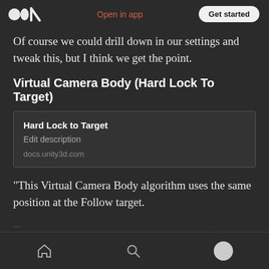Open in app | Get started
Of course we could drill down in our settings and tweak this, but I think we get the point.
Virtual Camera Body (Hard Lock To Target)
[Figure (other): Link card showing: Hard Lock to Target, Edit description, docs.unity3d.com]
“This Virtual Camera Body algorithm uses the same position at the Follow target.